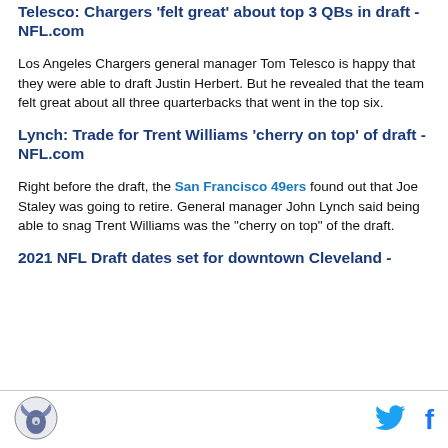Telesco: Chargers 'felt great' about top 3 QBs in draft - NFL.com
Los Angeles Chargers general manager Tom Telesco is happy that they were able to draft Justin Herbert. But he revealed that the team felt great about all three quarterbacks that went in the top six.
Lynch: Trade for Trent Williams 'cherry on top' of draft - NFL.com
Right before the draft, the San Francisco 49ers found out that Joe Staley was going to retire. General manager John Lynch said being able to snag Trent Williams was the "cherry on top" of the draft.
2021 NFL Draft dates set for downtown Cleveland -
[Figure (logo): Circular emblem logo with wings and shield design]